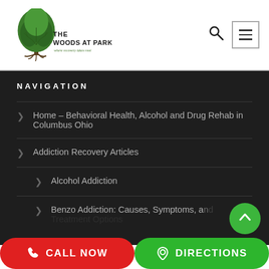[Figure (logo): The Woods at Parkside logo with a tree illustration and text 'THE WOODS AT PARKSIDE where recovery takes root']
NAVIGATION
Home – Behavioral Health, Alcohol and Drug Rehab in Columbus Ohio
Addiction Recovery Articles
Alcohol Addiction
Benzo Addiction: Causes, Symptoms, and Treatment Options
CALL NOW
DIRECTIONS